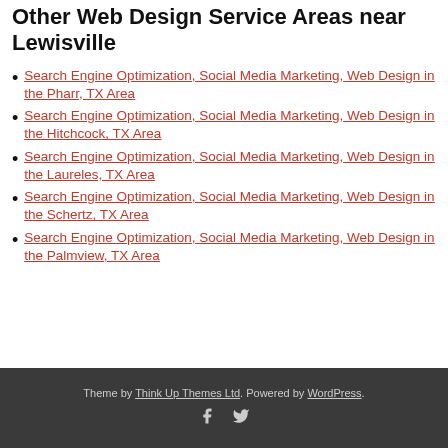Other Web Design Service Areas near Lewisville
Search Engine Optimization, Social Media Marketing, Web Design in the Pharr, TX Area
Search Engine Optimization, Social Media Marketing, Web Design in the Hitchcock, TX Area
Search Engine Optimization, Social Media Marketing, Web Design in the Laureles, TX Area
Search Engine Optimization, Social Media Marketing, Web Design in the Schertz, TX Area
Search Engine Optimization, Social Media Marketing, Web Design in the Palmview, TX Area
Theme by Think Up Themes Ltd. Powered by WordPress.